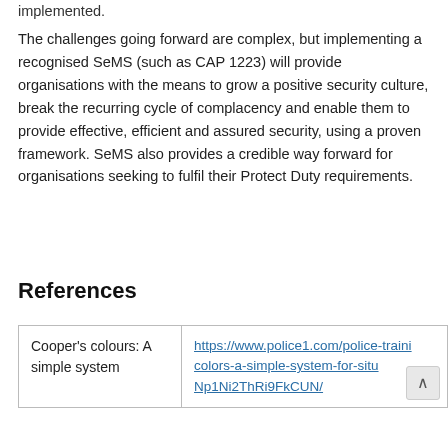implemented.
The challenges going forward are complex, but implementing a recognised SeMS (such as CAP 1223) will provide organisations with the means to grow a positive security culture, break the recurring cycle of complacency and enable them to provide effective, efficient and assured security, using a proven framework. SeMS also provides a credible way forward for organisations seeking to fulfil their Protect Duty requirements.
References
|  |  |
| --- | --- |
| Cooper’s colours: A simple system | https://www.police1.com/police-training/colors-a-simple-system-for-situ
Np1Ni2ThRi9FkCUN/ |